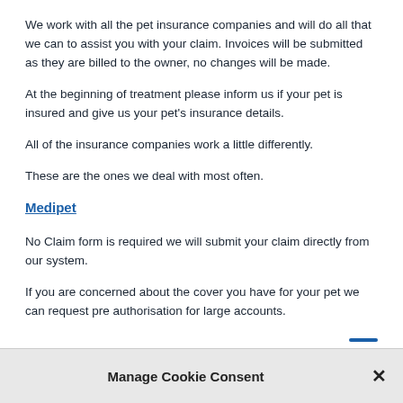We work with all the pet insurance companies and will do all that we can to assist you with your claim. Invoices will be submitted as they are billed to the owner, no changes will be made.
At the beginning of treatment please inform us if your pet is insured and give us your pet's insurance details.
All of the insurance companies work a little differently.
These are the ones we deal with most often.
Medipet
No Claim form is required we will submit your claim directly from our system.
If you are concerned about the cover you have for your pet we can request pre authorisation for large accounts.
Manage Cookie Consent